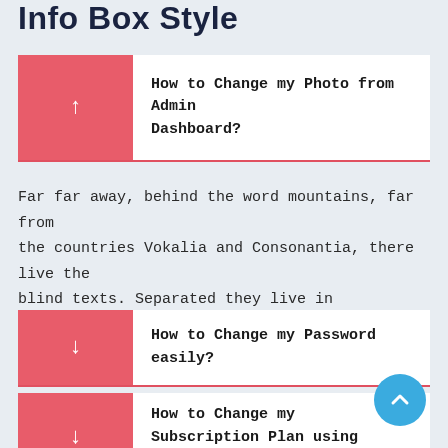Info Box Style
How to Change my Photo from Admin Dashboard?
Far far away, behind the word mountains, far from the countries Vokalia and Consonantia, there live the blind texts. Separated they live in Bookmarksgrove right at the coast
How to Change my Password easily?
How to Change my Subscription Plan using PayPal